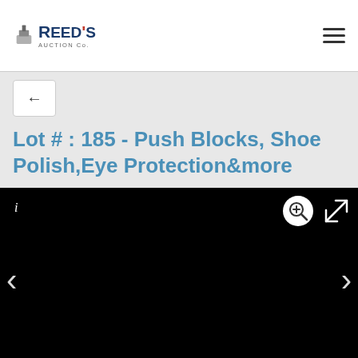Reed's Auction Co.
Lot # : 185 - Push Blocks, Shoe Polish,Eye Protection&more
[Figure (photo): Black image viewer panel with navigation arrows (left/right), zoom button, expand button, and info icon. The image area is entirely black.]